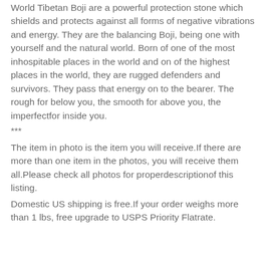World Tibetan Boji are a powerful protection stone which shields and protects against all forms of negative vibrations and energy. They are the balancing Boji, being one with yourself and the natural world. Born of one of the most inhospitable places in the world and on of the highest places in the world, they are rugged defenders and survivors. They pass that energy on to the bearer. The rough for below you, the smooth for above you, the imperfectfor inside you.
***
The item in photo is the item you will receive.If there are more than one item in the photos, you will receive them all.Please check all photos for properdescriptionof this listing.
Domestic US shipping is free.If your order weighs more than 1 lbs, free upgrade to USPS Priority Flatrate.